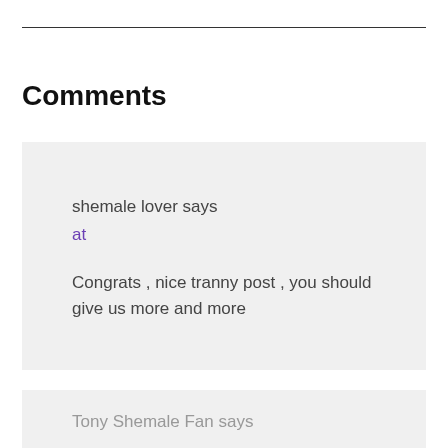Comments
shemale lover says
at

Congrats , nice tranny post , you should give us more and more
Tony Shemale Fan says